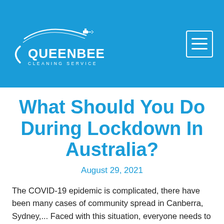[Figure (logo): QueenBee Cleaning Service logo — white text on blue background with curved arc and cleaning tool graphic]
What Should You Do During Lockdown In Australia?
August 29, 2021
The COVID-19 epidemic is complicated, there have been many cases of community spread in Canberra, Sydney,... Faced with this situation, everyone needs to take measures to protect themselves and their families.